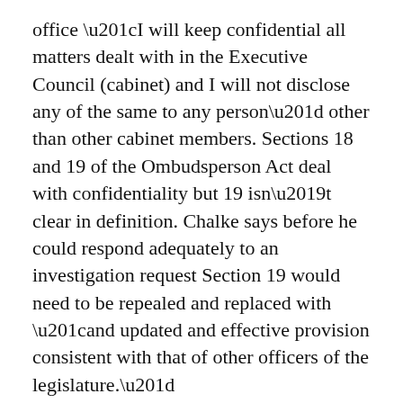office “I will keep confidential all matters dealt with in the Executive Council (cabinet) and I will not disclose any of the same to any person” other than other cabinet members. Sections 18 and 19 of the Ombudsperson Act deal with confidentiality but 19 isn’t clear in definition. Chalke says before he could respond adequately to an investigation request Section 19 would need to be repealed and replaced with “and updated and effective provision consistent with that of other officers of the legislature.”
He requests from the committee “no referral (to launch an investigation) be made by the Committee unless it has a commitment from Government to introduce the changes in legislation at the earliest opportunity.” In addition he wants to see a clause “to release parties from any confidentiality undertakings